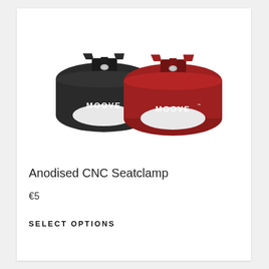[Figure (photo): Two anodised CNC seatclamps side by side — one black and one red — both branded with MOOVE logo, shown on white background.]
Anodised CNC Seatclamp
€5
SELECT OPTIONS